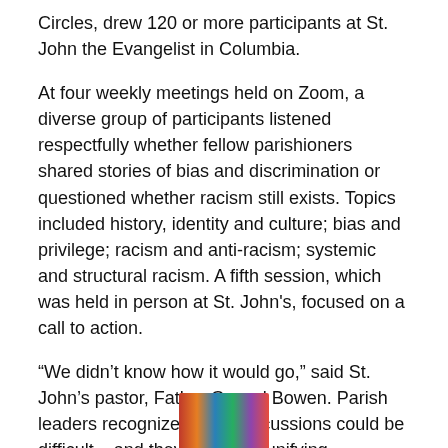Circles, drew 120 or more participants at St. John the Evangelist in Columbia.
At four weekly meetings held on Zoom, a diverse group of participants listened respectfully whether fellow parishioners shared stories of bias and discrimination or questioned whether racism still exists. Topics included history, identity and culture; bias and privilege; racism and anti-racism; systemic and structural racism. A fifth session, which was held in person at St. John's, focused on a call to action.
“We didn’t know how it would go,” said St. John’s pastor, Father Gerard Bowen. Parish leaders recognized such discussions could be difficult – and they wanted a unifying message.
[Figure (photo): Partial color photo strip visible at the bottom of the page, cropped.]